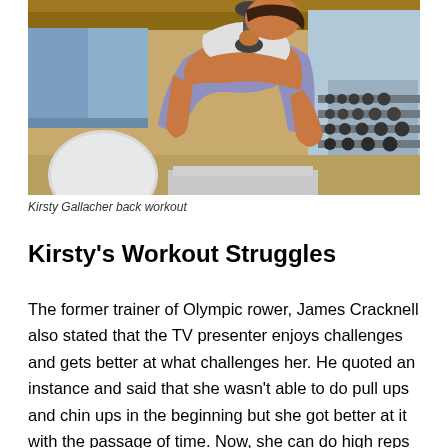[Figure (photo): Woman in gym workout attire leaning forward with a dumbbell in a gym setting with equipment in background]
Kirsty Gallacher back workout
Kirsty's Workout Struggles
The former trainer of Olympic rower, James Cracknell also stated that the TV presenter enjoys challenges and gets better at what challenges her. He quoted an instance and said that she wasn't able to do pull ups and chin ups in the beginning but she got better at it with the passage of time. Now, she can do high reps in multiple sets of each exercise